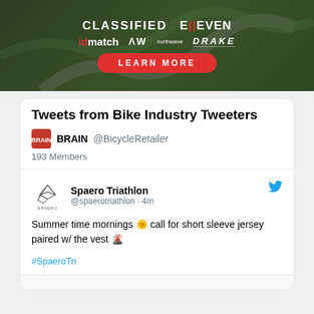[Figure (illustration): Advertisement banner with dark green background (aerial road view), logos: CLASSIFIED, E11EVEN, idmatch, northwave, DRAKE, and a red LEARN MORE button]
Tweets from Bike Industry Tweeters
BRAIN @BicycleRetailer
193 Members
Spaero Triathlon @spaerotriathlon · 4m
Summer time mornings 🌞 call for short sleeve jersey paired w/ the vest 🌋
#SpaeroTri